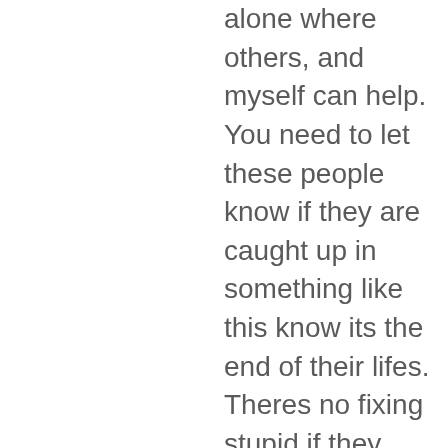alone where others, and myself can help. You need to let these people know if they are caught up in something like this know its the end of their lifes. Theres no fixing stupid if they know its an automatic death sentence, and they see people being blown away for things like this they would more than likely not kill people. If they think the worst they are going to get is a arguement with bubba in the jail house about watching Oprah then you have a problem. An automatic death penalty for